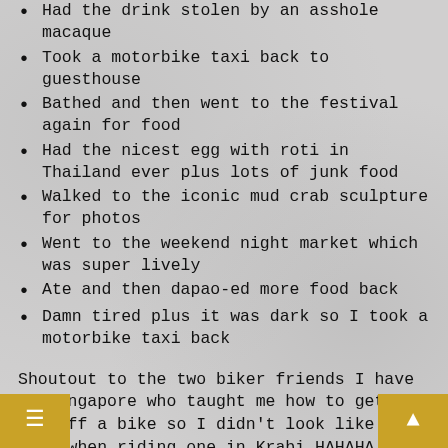Had the drink stolen by an asshole macaque
Took a motorbike taxi back to guesthouse
Bathed and then went to the festival again for food
Had the nicest egg with roti in Thailand ever plus lots of junk food
Walked to the iconic mud crab sculpture for photos
Went to the weekend night market which was super lively
Ate and then dapao-ed more food back
Damn tired plus it was dark so I took a motorbike taxi back
Shoutout to the two biker friends I have in Singapore who taught me how to get on and off a bike so I didn't look like a fool when riding one in Krabi HAHAHA.